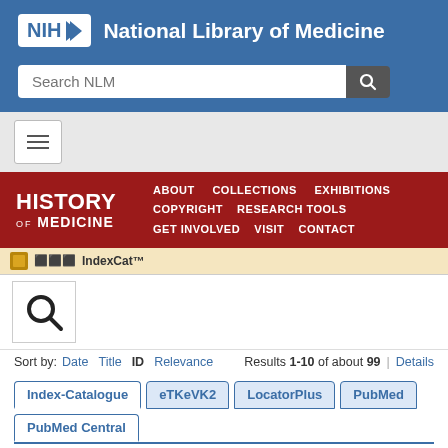[Figure (screenshot): NIH National Library of Medicine website header with blue background, NIH logo, and search bar]
NIH National Library of Medicine
[Figure (screenshot): History of Medicine navigation banner in dark red with menu items: ABOUT, COLLECTIONS, EXHIBITIONS, COPYRIGHT, RESEARCH TOOLS, GET INVOLVED, VISIT, CONTACT]
[Figure (screenshot): IndexCat search interface bar]
Sort by: Date Title ID Relevance  Results 1-10 of about 99 | Details
Index-Catalogue  eTKeVK2  LocatorPlus  PubMed  PubMed Central
Refinements: Index-Catalogue, Library of the Surgeon-General's Office 1880-1961: Series 4, 1936- > Volume 010 × > Page 163 ×